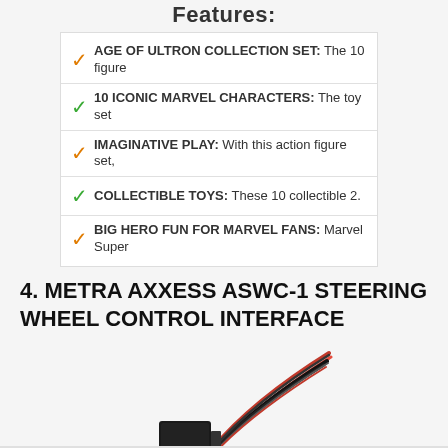Features:
AGE OF ULTRON COLLECTION SET: The 10 figure
10 ICONIC MARVEL CHARACTERS: The toy set
IMAGINATIVE PLAY: With this action figure set,
COLLECTIBLE TOYS: These 10 collectible 2.
BIG HERO FUN FOR MARVEL FANS: Marvel Super
4. METRA AXXESS ASWC-1 STEERING WHEEL CONTROL INTERFACE
[Figure (photo): Product photo of Metra Axxess ASWC-1 steering wheel control interface showing wiring harness with red and black cables, a small black electronic module, and connector components.]
Buy Now On Amazon